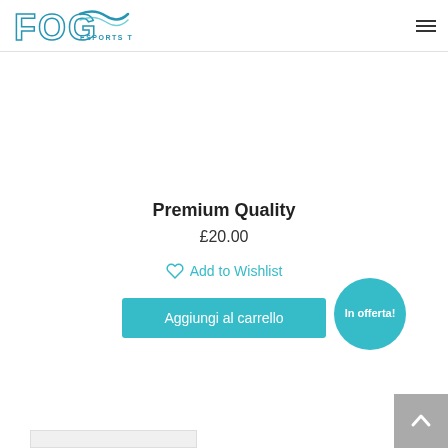[Figure (logo): FOG Esports Team logo with wave graphic and text]
Premium Quality
£20.00
Add to Wishlist
Aggiungi al carrello
In offerta!
[Figure (other): Back to top arrow button (grey square with upward arrow)]